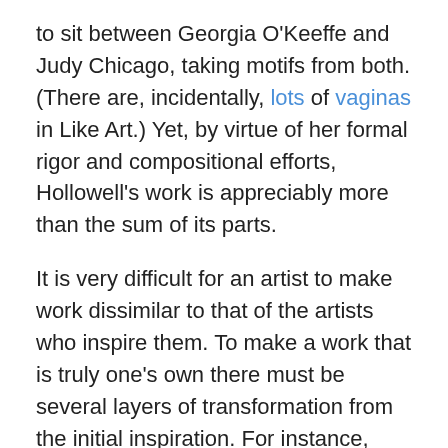to sit between Georgia O'Keeffe and Judy Chicago, taking motifs from both. (There are, incidentally, lots of vaginas in Like Art.) Yet, by virtue of her formal rigor and compositional efforts, Hollowell's work is appreciably more than the sum of its parts.
It is very difficult for an artist to make work dissimilar to that of the artists who inspire them. To make a work that is truly one's own there must be several layers of transformation from the initial inspiration. For instance, Donald Judd cites Lee Bontecou as important to Minimalism, but her work doesn't leap to mind when seeing his. Like Art is different. It has no pretension of moving past its own influences, better seen as appropriations. Doing so would risk its likability, its dependency on pre-established tastes. It would take on the...